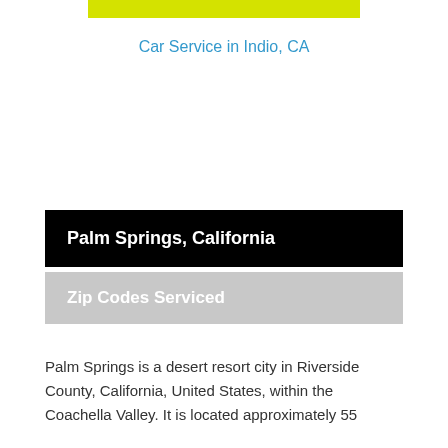[Figure (other): Yellow horizontal banner bar at top of page]
Car Service in Indio, CA
Palm Springs, California
Zip Codes Serviced
Palm Springs is a desert resort city in Riverside County, California, United States, within the Coachella Valley. It is located approximately 55